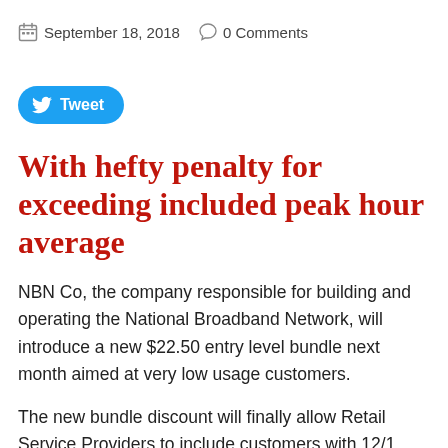September 18, 2018  0 Comments
[Figure (other): Tweet button with Twitter bird icon]
With hefty penalty for exceeding included peak hour average
NBN Co, the company responsible for building and operating the National Broadband Network, will introduce a new $22.50 entry level bundle next month aimed at very low usage customers.
The new bundle discount will finally allow Retail Service Providers to include customers with 12/1 Mbps AVCs in the same pool of bundled CVC from other bundled offers. Each Entry Level Bundle will include a 12/1 Mbps AVC and 0.15 Mbps CVC, which contributes